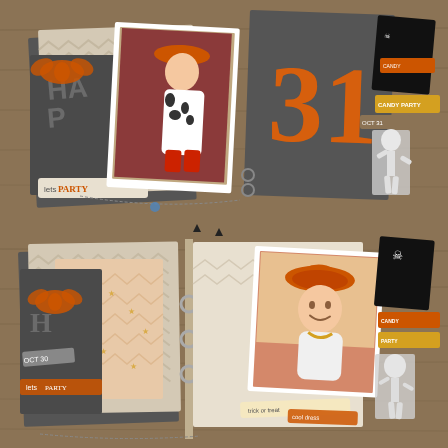[Figure (photo): A Halloween scrapbook mini album displayed open on a wooden surface. The album shows multiple pages fanned out featuring a child dressed as a cowgirl/Jessie costume with orange hat, black and white cow print outfit and red boots. Pages include orange glitter decorations, the number '31' in orange glitter, text reading 'HAPPY' and 'lets PARTY', chevron patterned paper, dark gray pages, Halloween themed embellishments including skeleton figures, pirate flags, candy party tags, and OCT 31 labels. The album is bound with small metal rings.]
[Figure (photo): The same Halloween scrapbook mini album shown open to different pages on a wooden surface. Left side shows patterned pages with chevron designs, peach/cream textured paper with stars, orange glitter bat embellishments, OCT 30 label, and partial 'HAPPY' text. Right side shows a smiling child wearing a large orange cowboy hat and white outfit (Jessie/cowgirl costume), with Halloween embellishments including skeleton figures, pirate flag, candy party tags, and decorative banner text reading 'trick or treat' and 'cool dress'. Album bound with silver metal rings.]